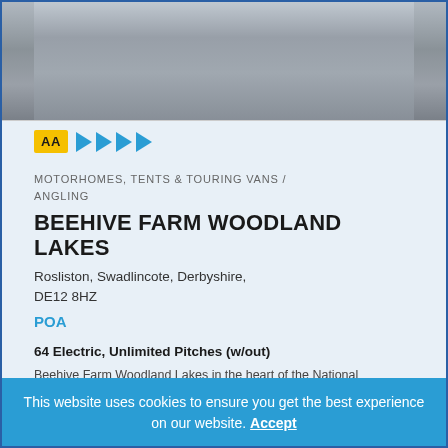[Figure (photo): Grey textured surface photo, partially visible at top of page]
[Figure (logo): AA badge (yellow square with black 'AA' text) followed by four blue right-pointing arrows indicating rating]
MOTORHOMES, TENTS & TOURING VANS / ANGLING
BEEHIVE FARM WOODLAND LAKES
Rosliston, Swadlincote, Derbyshire, DE12 8HZ
POA
64 Electric, Unlimited Pitches (w/out)
Beehive Farm Woodland Lakes in the heart of the National
This website uses cookies to ensure you get the best experience on our website. Accept